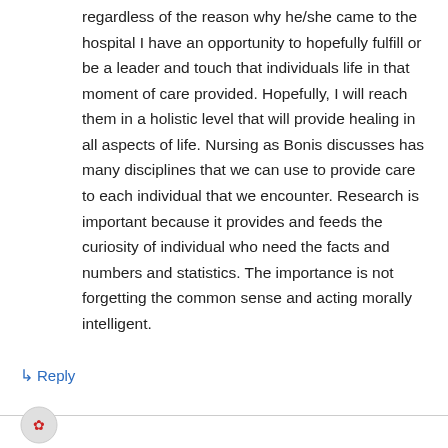regardless of the reason why he/she came to the hospital I have an opportunity to hopefully fulfill or be a leader and touch that individuals life in that moment of care provided. Hopefully, I will reach them in a holistic level that will provide healing in all aspects of life. Nursing as Bonis discusses has many disciplines that we can use to provide care to each individual that we encounter. Research is important because it provides and feeds the curiosity of individual who need the facts and numbers and statistics. The importance is not forgetting the common sense and acting morally intelligent.
↳ Reply